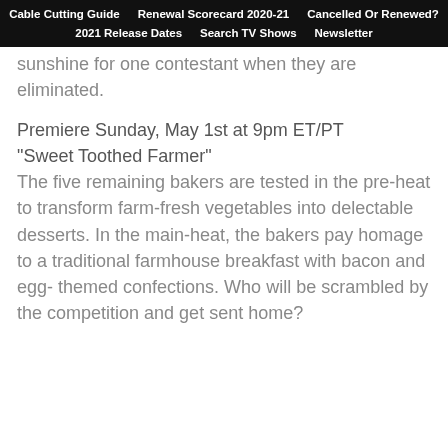Cable Cutting Guide | Renewal Scorecard 2020-21 | Cancelled Or Renewed? | 2021 Release Dates | Search TV Shows | Newsletter
sunshine for one contestant when they are eliminated.
Premiere Sunday, May 1st at 9pm ET/PT
“Sweet Toothed Farmer”
The five remaining bakers are tested in the pre-heat to transform farm-fresh vegetables into delectable desserts. In the main-heat, the bakers pay homage to a traditional farmhouse breakfast with bacon and egg- themed confections. Who will be scrambled by the competition and get sent home?